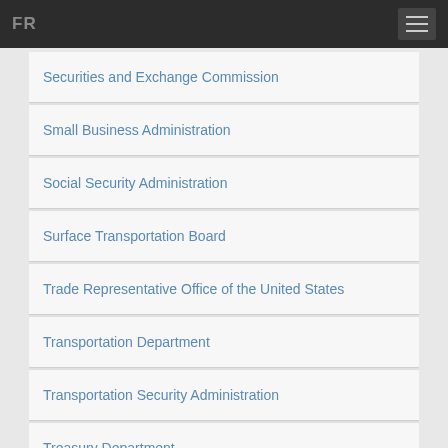FR
Securities and Exchange Commission
Small Business Administration
Social Security Administration
Surface Transportation Board
Trade Representative Office of the United States
Transportation Department
Transportation Security Administration
Treasury Department